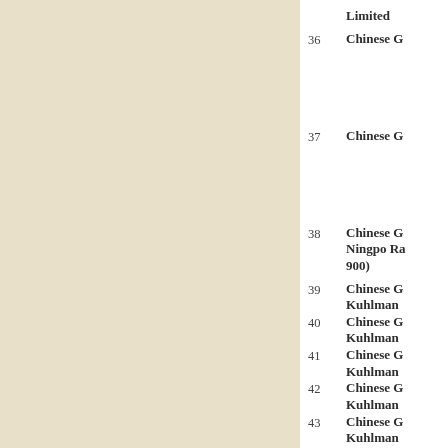Limited
36  Chinese G
37  Chinese G
38  Chinese G Ningpo Ra 900)
39  Chinese G Kuhlman
40  Chinese G Kuhlman
41  Chinese G Kuhlman
42  Chinese G Kuhlman
43  Chinese G Kuhlman
44  Chinese G